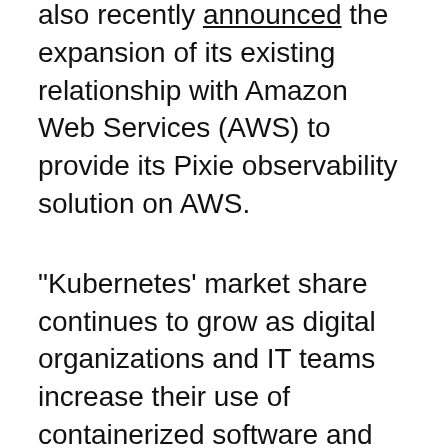also recently announced the expansion of its existing relationship with Amazon Web Services (AWS) to provide its Pixie observability solution on AWS.
"Kubernetes' market share continues to grow as digital organizations and IT teams increase their use of containerized software and adopt cloud architectures. As such, Kubernetes observability is essential to support instant monitoring, troubleshooting and debugging," said Stephen Elliot, Program Vice President, Management Software and DevOps, IDC. “Commercializing Pixie provides DevOps and engineering teams of all sizes with a Kubernetes-native observability...